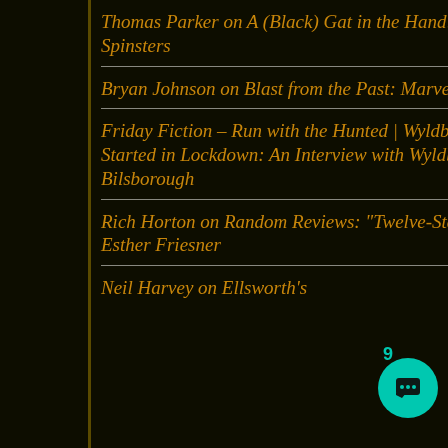Thomas Parker on A (Black) Gat in the Hand: The Murdering Spinsters
Bryan Johnson on Blast from the Past: Marvel Super Heroes RPG
Friday Fiction – Run with the Hunted | Wyldblood Press on It All Started in Lockdown: An Interview with Wyldblood Editor Mark Bilsborough
Rich Horton on Random Reviews: “Twelve-Steppe Program,” by Esther Friesner
Neil Harvey on Ellsworth’s